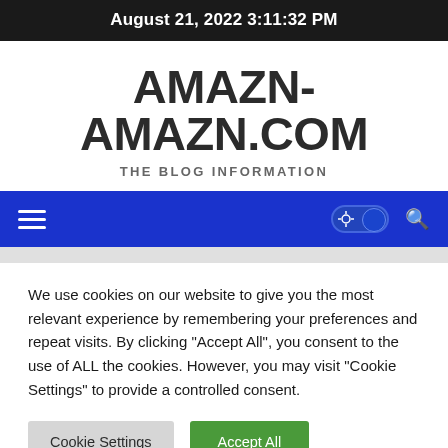August 21, 2022 3:11:32 PM
AMAZN-AMAZN.COM
THE BLOG INFORMATION
[Figure (screenshot): Blue navigation bar with hamburger menu icon on left, a dark mode toggle switch and search icon on right]
We use cookies on our website to give you the most relevant experience by remembering your preferences and repeat visits. By clicking “Accept All”, you consent to the use of ALL the cookies. However, you may visit “Cookie Settings” to provide a controlled consent.
Cookie Settings   Accept All